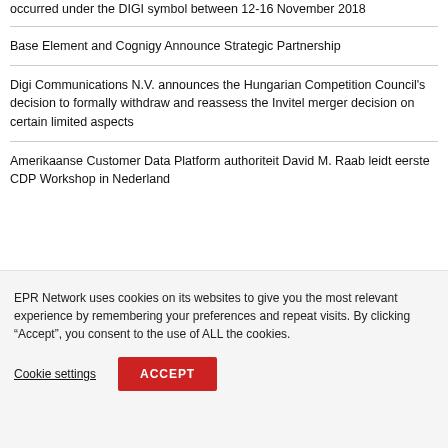occurred under the DIGI symbol between 12-16 November 2018
Base Element and Cognigy Announce Strategic Partnership
Digi Communications N.V. announces the Hungarian Competition Council's decision to formally withdraw and reassess the Invitel merger decision on certain limited aspects
Amerikaanse Customer Data Platform authoriteit David M. Raab leidt eerste CDP Workshop in Nederland
EPR Network uses cookies on its websites to give you the most relevant experience by remembering your preferences and repeat visits. By clicking “Accept”, you consent to the use of ALL the cookies.
Cookie settings
ACCEPT